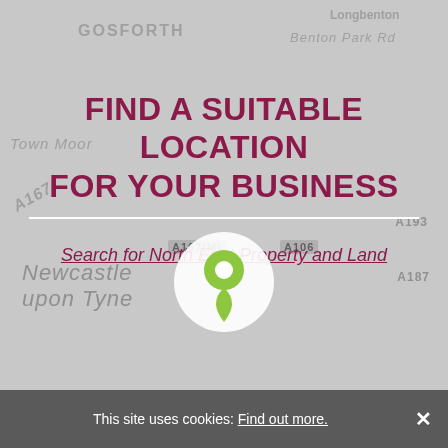[Figure (map): Grey street map background showing Newcastle upon Tyne area with labels: Longbenton, GOSFORTH, Benton Park Rd, Town Moor, A167, A167(M), A106, A193, A187, Newcastle upon Tyne. A green location pin icon is shown in the lower center of the map.]
FIND A SUITABLE LOCATION FOR YOUR BUSINESS
Search for North East Property and Land
This site uses cookies: Find out more. ×